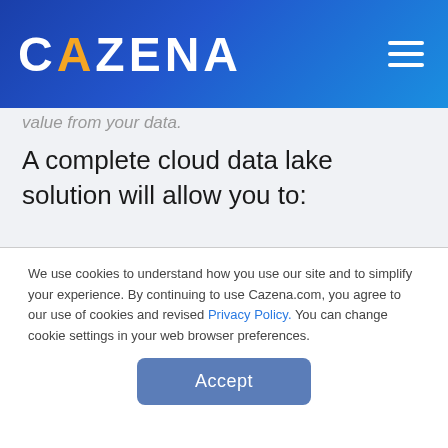CAZENA
value from your data.
A complete cloud data lake solution will allow you to:
Harvest and securely store unlimited data, both historical and real-time
Access unlimited computing power
We use cookies to understand how you use our site and to simplify your experience. By continuing to use Cazena.com, you agree to our use of cookies and revised Privacy Policy. You can change cookie settings in your web browser preferences.